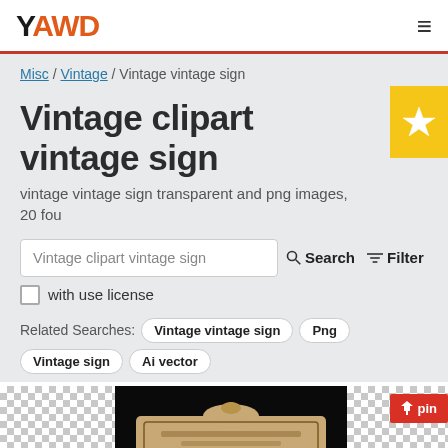YAWD
Misc / Vintage / Vintage vintage sign
Vintage clipart vintage sign
vintage vintage sign transparent and png images, 20 found
Vintage clipart vintage sign
with use license
Related Searches: Vintage vintage sign   Png   Vintage sign   Ai vector
[Figure (screenshot): Bottom image strip showing clipart thumbnails with checkered transparency backgrounds and a vintage ornate sign in the center on a dark background, with a red pin button overlay]